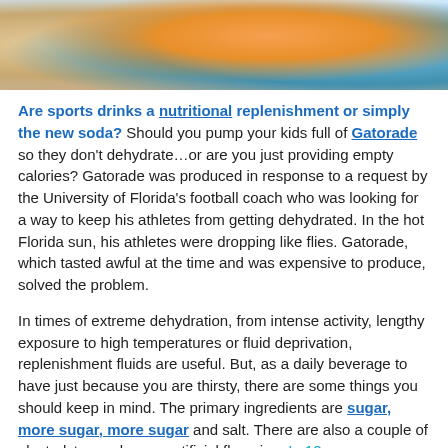[Figure (photo): Photo of a person (likely a child or athlete) with sports/outdoor equipment including what appears to be a towel and orange bottle, with a teal/blue background.]
Are sports drinks a nutritional replenishment or simply the new soda? Should you pump your kids full of Gatorade so they don't dehydrate…or are you just providing empty calories? Gatorade was produced in response to a request by the University of Florida's football coach who was looking for a way to keep his athletes from getting dehydrated. In the hot Florida sun, his athletes were dropping like flies. Gatorade, which tasted awful at the time and was expensive to produce, solved the problem.
In times of extreme dehydration, from intense activity, lengthy exposure to high temperatures or fluid deprivation, replenishment fluids are useful. But, as a daily beverage to have just because you are thirsty, there are some things you should keep in mind. The primary ingredients are sugar, more sugar, more sugar and salt. There are also a couple of electrolytes and some artificial flavoring. In 12 ounces –